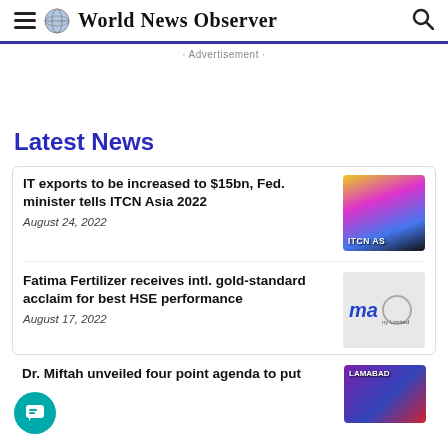World News Observer
· Advertisement ·
Latest News
IT exports to be increased to $15bn, Fed. minister tells ITCN Asia 2022
August 24, 2022
Fatima Fertilizer receives intl. gold-standard acclaim for best HSE performance
August 17, 2022
Dr. Miftah unveiled four point agenda to put